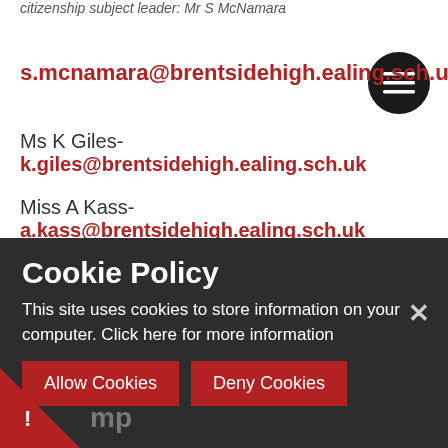Citizenship Subject Leader: Mr S McNamara
s.mcnamara@brentsidehigh.ealing.sch.uk
Ms K Giles- k.giles@brentsidehigh.ealing.sch.uk
Miss A Kass- a.kass@brentsidehigh.ealing.sch.uk
Ms M Rosenblatt- m.rosenblatt@brentsidehigh.ealing.sch.uk
Ms Tahia Jahan- t.jahan@brentsidehigh.ealing.sch.uk
Cookie Policy
This site uses cookies to store information on your computer. Click here for more information
Allow Cookies
Deny Cookies